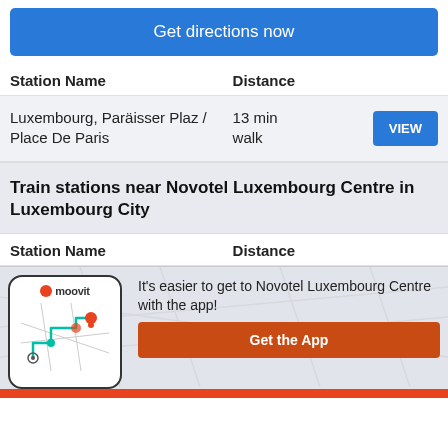Get directions now
| Station Name | Distance |
| --- | --- |
| Luxembourg, Paräisser Plaz / Place De Paris | 13 min walk |
Train stations near Novotel Luxembourg Centre in Luxembourg City
| Station Name | Distance |
| --- | --- |
[Figure (screenshot): Moovit app promotion with phone screenshot showing a map route]
It's easier to get to Novotel Luxembourg Centre with the app!
Get the App